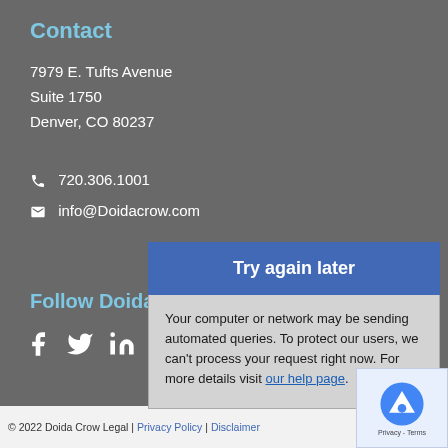Contact
7979 E. Tufts Avenue
Suite 1750
Denver, CO 80237
720.306.1001
info@Doidacrow.com
Follow Doida Crow Legal
[Figure (other): Social media icons: Facebook, Twitter, LinkedIn, YouTube, Instagram]
[Figure (screenshot): Overlay dialog showing 'Try again later' in blue bar, with text: 'Your computer or network may be sending automated queries. To protect our users, we can't process your request right now. For more details visit our help page.']
© 2022 Doida Crow Legal | Privacy Policy | Disclaimer